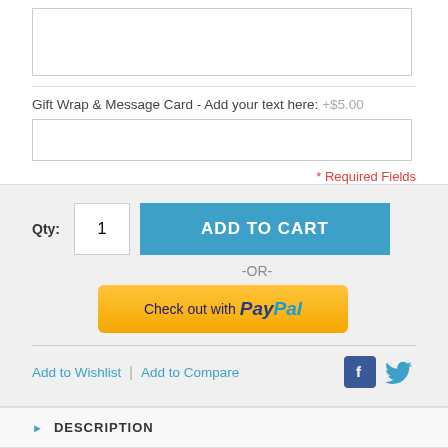[Figure (screenshot): Textarea input box (partially visible, cut off at top)]
Gift Wrap & Message Card - Add your text here: +$5.00
[Figure (screenshot): Text input field for Gift Wrap & Message Card]
* Required Fields
Qty: 1
[Figure (screenshot): ADD TO CART button (blue)]
-OR-
[Figure (screenshot): Check out with PayPal button (yellow)]
Add to Wishlist | Add to Compare
[Figure (screenshot): Facebook and Twitter social icons]
DESCRIPTION
ADDITIONAL INFORMATION